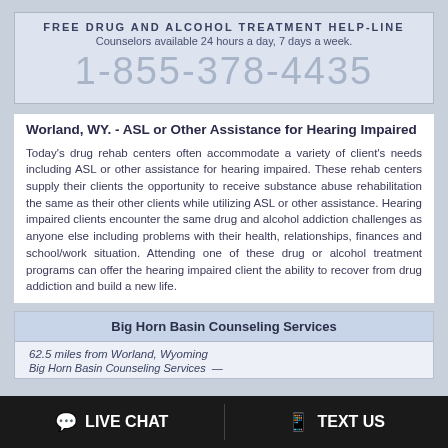FREE DRUG AND ALCOHOL TREATMENT HELP-LINE
Counselors available 24 hours a day, 7 days a week.
1-855-378-4435
Worland, WY. - ASL or Other Assistance for Hearing Impaired
Today's drug rehab centers often accommodate a variety of client's needs including ASL or other assistance for hearing impaired. These rehab centers supply their clients the opportunity to receive substance abuse rehabilitation the same as their other clients while utilizing ASL or other assistance. Hearing impaired clients encounter the same drug and alcohol addiction challenges as anyone else including problems with their health, relationships, finances and school/work situation. Attending one of these drug or alcohol treatment programs can offer the hearing impaired client the ability to recover from drug addiction and build a new life.
Big Horn Basin Counseling Services
62.5 miles from Worland, Wyoming
LIVE CHAT   TEXT US